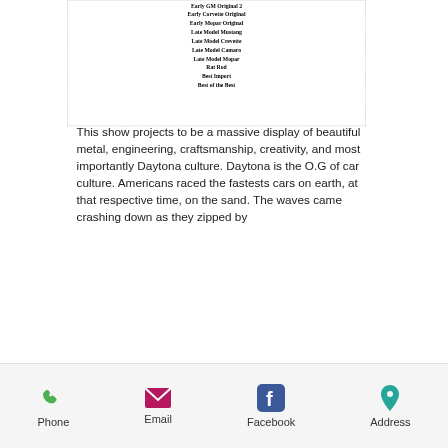Early GM Original 2
Early Corvette Original
Early Mopar Original
Late Model Mustang
Late Model Crevette
Late Model Camaro
Late Model Mopar
Rat Rod
Best Import
Best of the Best
This show projects to be a massive display of beautiful metal, engineering, craftsmanship, creativity, and most importantly Daytona culture. Daytona is the O.G of car culture. Americans raced the fastests cars on earth, at that respective time, on the sand. The waves came crashing down as they zipped by
Phone  Email  Facebook  Address